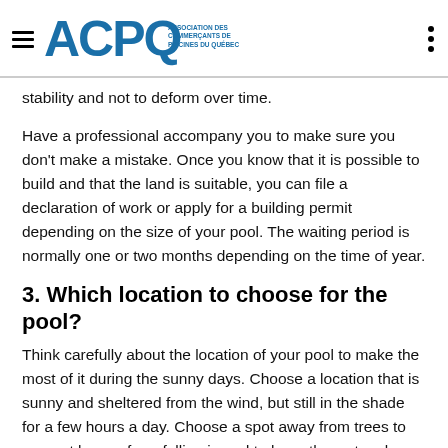ACPQ — Association des commerçants de piscines du Québec
stability and not to deform over time.
Have a professional accompany you to make sure you don't make a mistake. Once you know that it is possible to build and that the land is suitable, you can file a declaration of work or apply for a building permit depending on the size of your pool. The waiting period is normally one or two months depending on the time of year.
3. Which location to choose for the pool?
Think carefully about the location of your pool to make the most of it during the sunny days. Choose a location that is sunny and sheltered from the wind, but still in the shade for a few hours a day. Choose a spot away from trees to prevent leaves from falling in and to keep the water clean. Finally, be careful not to build your pool too close to your neighbors (check the urban planning rules to